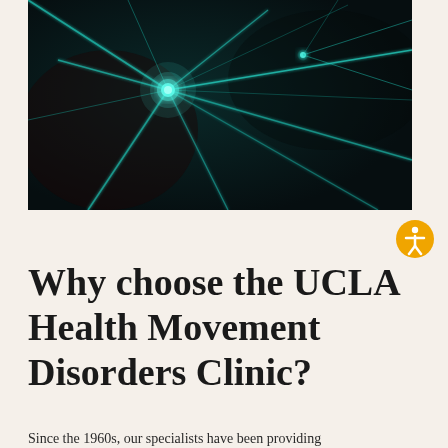[Figure (photo): Close-up photograph of a neuron with cyan/teal glowing dendrites against a dark background, depicting neural network connections.]
[Figure (other): Accessibility icon button — orange circle with white human figure (universal accessibility symbol).]
Why choose the UCLA Health Movement Disorders Clinic?
Since the 1960s, our specialists have been providing